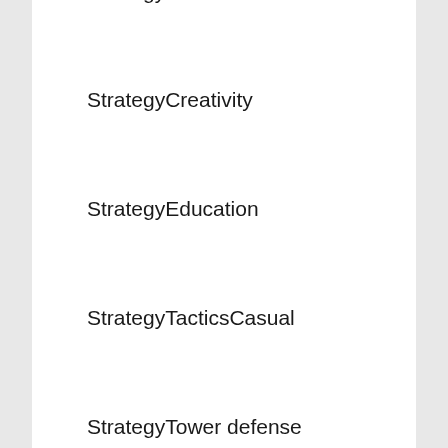StrategyCasual
StrategyCreativity
StrategyEducation
StrategyTacticsCasual
StrategyTower defense
StrategyTower defenseCasual
StrategyWargame
StrategyWargameCasual
Tools
Travel & Local